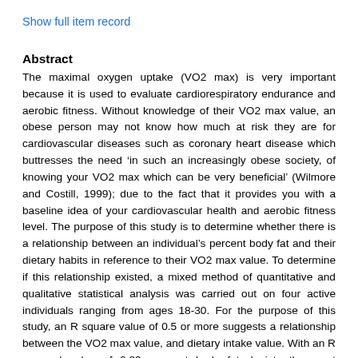Show full item record
Abstract
The maximal oxygen uptake (VO2 max) is very important because it is used to evaluate cardiorespiratory endurance and aerobic fitness. Without knowledge of their VO2 max value, an obese person may not know how much at risk they are for cardiovascular diseases such as coronary heart disease which buttresses the need ‘in such an increasingly obese society, of knowing your VO2 max which can be very beneficial’ (Wilmore and Costill, 1999); due to the fact that it provides you with a baseline idea of your cardiovascular health and aerobic fitness level. The purpose of this study is to determine whether there is a relationship between an individual’s percent body fat and their dietary habits in reference to their VO2 max value. To determine if this relationship existed, a mixed method of quantitative and qualitative statistical analysis was carried out on four active individuals ranging from ages 18-30. For the purpose of this study, an R square value of 0.5 or more suggests a relationship between the VO2 max value, and dietary intake value. With an R squared value of 0.89, percent body fat depicts the most significant relationship with VO2 max. % Body fat is very important because the body uses fat for insulation,